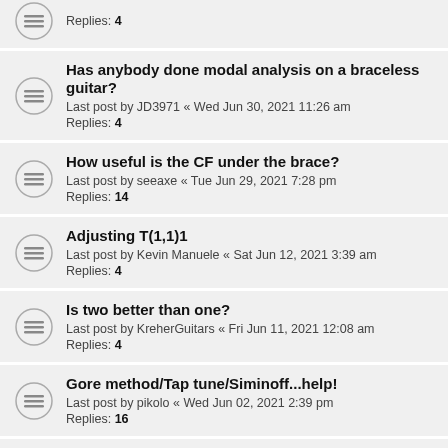Replies: 4
Has anybody done modal analysis on a braceless guitar?
Last post by JD3971 « Wed Jun 30, 2021 11:26 am
Replies: 4
How useful is the CF under the brace?
Last post by seeaxe « Tue Jun 29, 2021 7:28 pm
Replies: 14
Adjusting T(1,1)1
Last post by Kevin Manuele « Sat Jun 12, 2021 3:39 am
Replies: 4
Is two better than one?
Last post by KreherGuitars « Fri Jun 11, 2021 12:08 am
Replies: 4
Gore method/Tap tune/Siminoff...help!
Last post by pikolo « Wed Jun 02, 2021 2:39 pm
Replies: 16
Question for trev from another forum
Last post by simso « Thu May 27, 2021 6:49 pm
Replies: 2